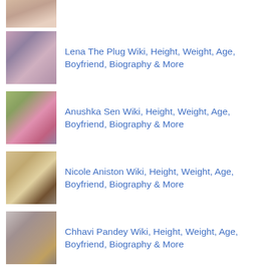[Figure (photo): Partial photo of a person at top of page]
Lena The Plug Wiki, Height, Weight, Age, Boyfriend, Biography & More
Anushka Sen Wiki, Height, Weight, Age, Boyfriend, Biography & More
Nicole Aniston Wiki, Height, Weight, Age, Boyfriend, Biography & More
Chhavi Pandey Wiki, Height, Weight, Age, Boyfriend, Biography & More
Amber Heard Wiki, Height, Weight, Age, Boyfriend, Biography & More